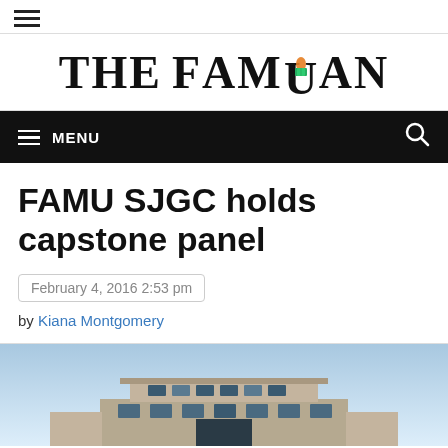The Famuan
FAMU SJGC holds capstone panel
February 4, 2016 2:53 pm
by Kiana Montgomery
[Figure (photo): Exterior photograph of a building, likely the FAMU School of Journalism and Graphic Communication building, photographed against a blue sky. The lower portion of the building facade is visible.]